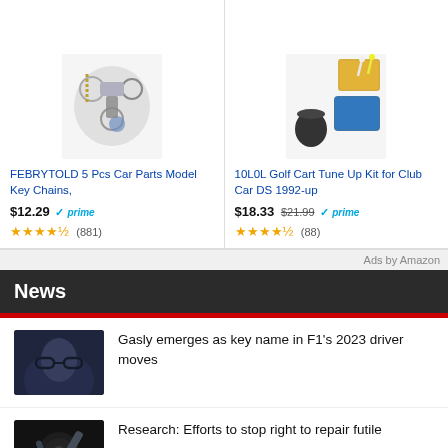[Figure (photo): Product image of FEBRYTOLD car parts model key chains]
FEBRYTOLD 5 Pcs Car Parts Model Key Chains,
$12.29 ✓prime ★★★★½ (881)
[Figure (photo): Product image of 10L0L Golf Cart Tune Up Kit for Club Car DS]
10L0L Golf Cart Tune Up Kit for Club Car DS 1992-up
$18.33 $21.99 ✓prime ★★★★½ (88)
Ads by Amazon
News
[Figure (photo): Dark photo of a person wearing glasses, F1 related news image]
Gasly emerges as key name in F1's 2023 driver moves
[Figure (photo): Dark mechanical/repair related news image]
Research: Efforts to stop right to repair futile